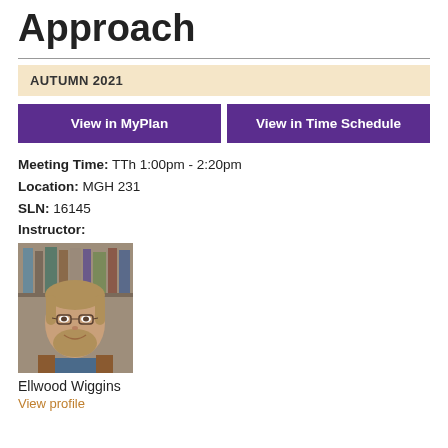Approach
AUTUMN 2021
View in MyPlan
View in Time Schedule
Meeting Time: TTh 1:00pm - 2:20pm
Location: MGH 231
SLN: 16145
Instructor:
[Figure (photo): Portrait photo of Ellwood Wiggins, a bearded man with glasses, wearing a brown vest over a blue shirt, standing in front of a bookshelf]
Ellwood Wiggins
View profile